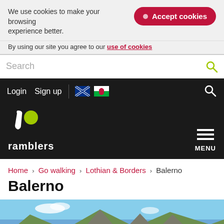We use cookies to make your browsing experience better.
Accept cookies
By using our site you agree to our use of cookies
Search
Login  Sign up
[Figure (logo): Ramblers logo - white walking figure with green dot and 'ramblers' text]
MENU
Home › Go walking › Lothian & Borders › Balerno
Balerno
[Figure (photo): Landscape photo of a green valley with mountains and blue sky, possibly Scottish Highlands. Hills with rocky peaks in background, green grass in foreground.]